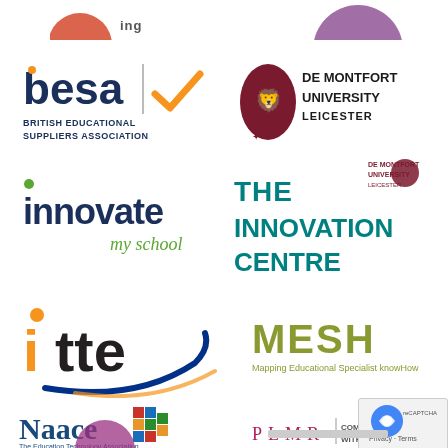[Figure (logo): Partial logos at top of page (cropped)]
[Figure (logo): BESA - British Educational Suppliers Association logo with orange checkmark]
[Figure (logo): De Montfort University Leicester logo with lion mascot in dark red]
[Figure (logo): Innovate My School logo - 'innovate' in dark blue lowercase with 'my school' in green cursive]
[Figure (logo): The Innovation Centre logo with De Montfort University Leicester branding, teal bold text]
[Figure (logo): itte logo with orange/dark letters and blue swoosh arc]
[Figure (logo): MESH - Mapping Educational Specialist knowHow logo in olive/khaki green]
[Figure (logo): Naace - The Education Technology Association logo with colorful mosaic squares]
[Figure (logo): PLMR | Communic... logo in dark pink/magenta spaced letters]
[Figure (logo): reCAPTCHA badge with blue circle icon, Privacy and Terms text]
[Figure (logo): Partial logos at bottom of page (cropped)]